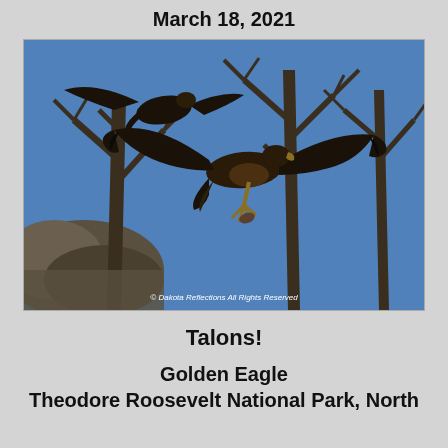March 18, 2021
[Figure (photo): A golden eagle in flight with wings spread wide and talons extended, in front of bare winter trees against a blue sky. Two eagles visible. Watermark reads: © Dakota Reflections All Rights Reserved]
Talons!
Golden Eagle
Theodore Roosevelt National Park, North Dakota